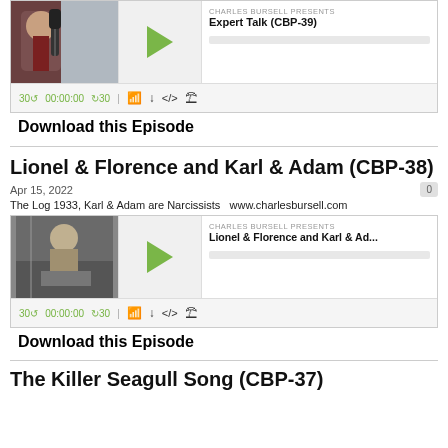[Figure (screenshot): Podcast player widget for Expert Talk (CBP-39) with thumbnail, play button, progress bar, and controls showing 30-back, 00:00:00, 30-forward, cast, download, embed, and settings icons]
Download this Episode
Lionel & Florence and Karl & Adam (CBP-38)
Apr 15, 2022
The Log 1933, Karl & Adam are Narcissists  www.charlesbursell.com
[Figure (screenshot): Podcast player widget for Lionel & Florence and Karl & Ad... with vintage child thumbnail, play button, progress bar, and controls]
Download this Episode
The Killer Seagull Song (CBP-37)